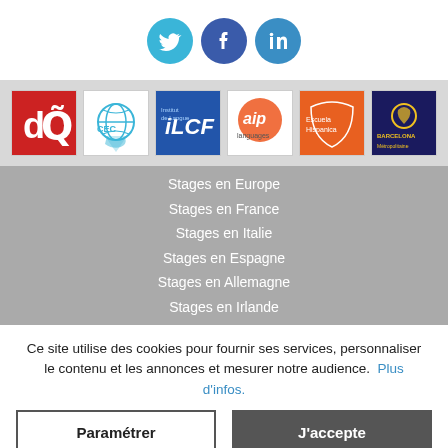[Figure (logo): Social media icons: Twitter (bird), Facebook (f), LinkedIn (in) in teal/blue circles]
[Figure (logo): Six partner logos: dQ (red), CEC (globe on hand), iLCF (blue), aip languages (orange circle), Escuela Hispanica (orange), Barcelona Metropolitana (dark blue)]
Stages en Europe
Stages en France
Stages en Italie
Stages en Espagne
Stages en Allemagne
Stages en Irlande
Ce site utilise des cookies pour fournir ses services, personnaliser le contenu et les annonces et mesurer notre audience.  Plus d'infos.
Paramétrer
J'accepte